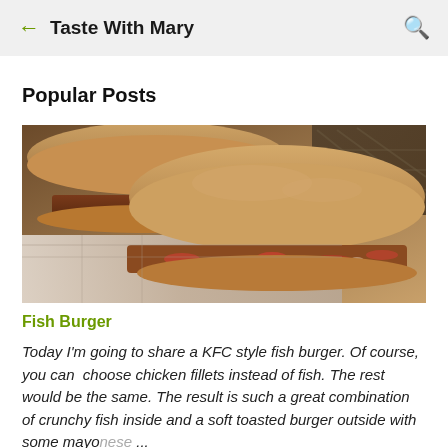Taste With Mary
Popular Posts
[Figure (photo): Close-up photo of two fish burgers with meat patties and buns on a table]
Fish Burger
Today I'm going to share a KFC style fish burger. Of course, you can  choose chicken fillets instead of fish. The rest would be the same. The result is such a great combination of crunchy fish inside and a soft toasted burger outside with some mayonese ...